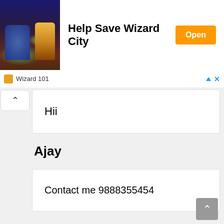[Figure (screenshot): Ad banner for Wizard 101 game with game art image on left, 'Help Save Wizard City' text in center, orange 'Open' button on right, and 'Wizard 101' app name below]
Hii
Ajay
Contact me 9888355454